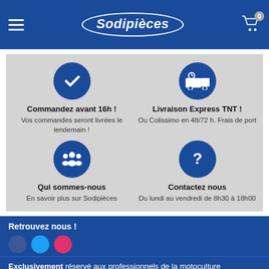Sodipièces
[Figure (infographic): Four info boxes in a 2x2 grid on grey background. Top-left: blue circle with checkmark icon, 'Commandez avant 16h !' bold, 'Vos commandes seront livrées le lendemain !'. Top-right: blue circle with truck/clock icon, 'Livraison Express TNT !' bold, 'Ou Colissimo en 48/72 h. Frais de port'. Bottom-left: blue circle with group/people icon, 'Qui sommes-nous' bold, 'En savoir plus sur Sodipièces'. Bottom-right: blue circle with question mark, 'Contactez nous' bold, 'Du lundi au vendredi de 8h30 à 18h00'.]
Retrouvez nous !
Exclusivement réservé aux professionnels de la motoculture
> Créez votre compte pro